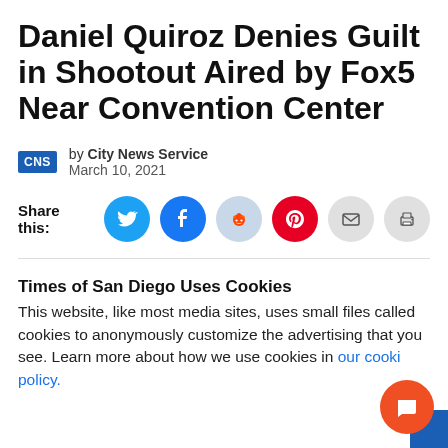Daniel Quiroz Denies Guilt in Shootout Aired by Fox5 Near Convention Center
by City News Service
March 10, 2021
Share this:
Times of San Diego Uses Cookies
This website, like most media sites, uses small files called cookies to anonymously customize the advertising that you see. Learn more about how we use cookies in our cookie policy.